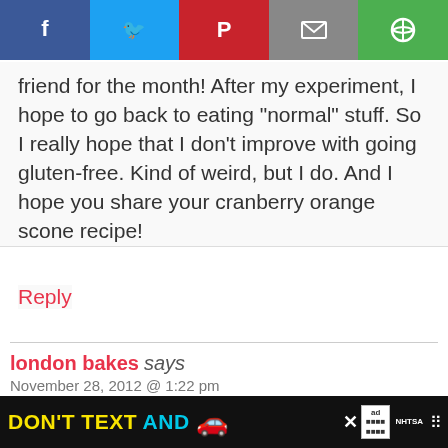[Figure (other): Social share bar with Facebook, Twitter, Pinterest, Email, and another icon button]
friend for the month! After my experiment, I hope to go back to eating "normal" stuff. So I really hope that I don't improve with going gluten-free. Kind of weird, but I do. And I hope you share your cranberry orange scone recipe!
Reply
london bakes says
November 28, 2012 @ 1:22 pm
This sounds really delicious and I love how simple it is! I think you were right to use granulated sugar too. As much as I like using
[Figure (other): Scroll to top overlay widget]
[Figure (other): Advertisement banner: DON'T TEXT AND [car emoji] with NHTSA branding]